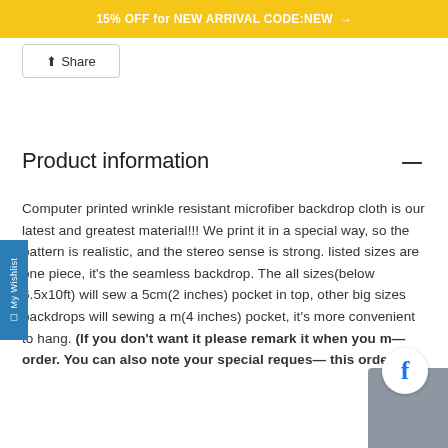15% OFF for NEW ARRIVAL CODE:NEW →
Share
Product information
Computer printed wrinkle resistant microfiber backdrop cloth is our latest and greatest material!!! We print it in a special way, so the pattern is realistic, and the stereo sense is strong. listed sizes are one piece, it's the seamless backdrop. The all sizes(below 6.5x10ft) will sew a 5cm(2 inches) pocket in top, other big sizes backdrops will sewing a m(4 inches) pocket, it's more convenient to hang. (If you don't want it please remark it when you make order. You can also note your special request for this order.)